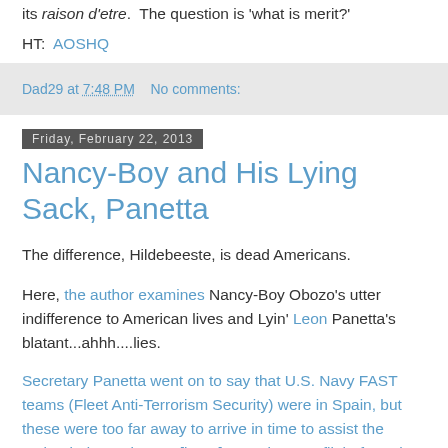its raison d'etre. The question is 'what is merit?'
HT:  AOSHQ
Dad29 at 7:48 PM    No comments:
Friday, February 22, 2013
Nancy-Boy and His Lying Sack, Panetta
The difference, Hildebeeste, is dead Americans.
Here, the author examines Nancy-Boy Obozo's utter indifference to American lives and Lyin' Leon Panetta's blatant...ahhh....lies.
Secretary Panetta went on to say that U.S. Navy FAST teams (Fleet Anti-Terrorism Security) were in Spain, but these were too far away to arrive in time to assist the embattled Americans...[but a]... Boeing 747 flight from the